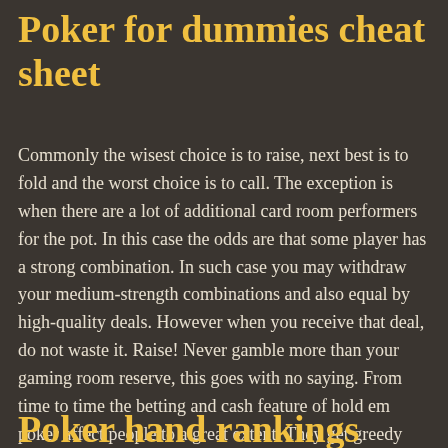Poker for dummies cheat sheet
Commonly the wisest choice is to raise, next best is to fold and the worst choice is to call. The exception is when there are a lot of additional card room performers for the pot. In this case the odds are that some player has a strong combination. In such case you may withdraw your medium-strength combinations and also equal by high-quality deals. However when you receive that deal, do not waste it. Raise! Never gamble more than your gaming room reserve, this goes with no saying. From time to time the betting and cash feature of hold em poker affect people to a great extent. They get greedy and perform in tournaments they can not allow themselves or plays where the competition is just too strong.
Poker hand rankings